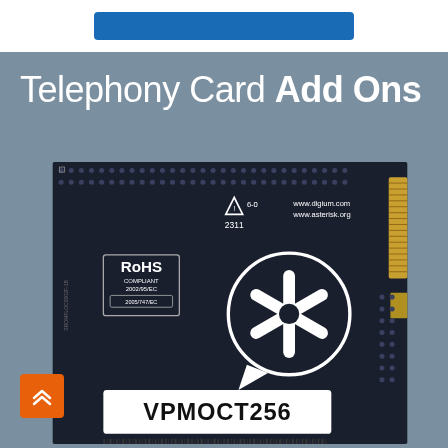[Figure (other): Blue button/banner at top of page]
Telephony Card Add Ons
[Figure (photo): Close-up photo of a Digium VPMOCT256 telephony card add-on PCB. The dark circuit board shows RoHS compliance markings, Asterisk logo (asterisk symbol in speech bubble), www.digium.com and www.asterisk.org URLs, model number 2311, and a white label at the bottom reading VPMOCT256.]
[Figure (other): Orange back-to-top button with double chevron up arrow]